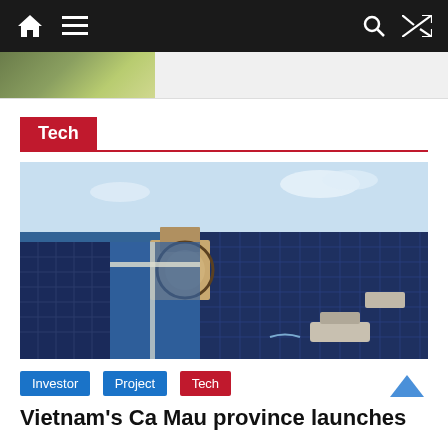Navigation bar with home, menu, search, and shuffle icons
[Figure (photo): Cropped top portion of an outdoor photo showing green field/landscape]
Tech
[Figure (photo): Aerial view of a large floating solar panel farm on water with boats visible]
Investor
Project
Tech
Vietnam's Ca Mau province launches